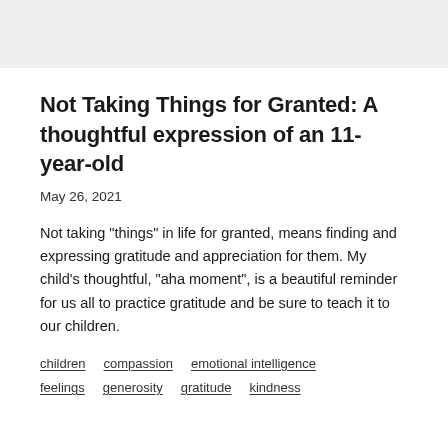[Figure (photo): Light grey rectangle at top of page representing a header image placeholder]
Not Taking Things for Granted: A thoughtful expression of an 11-year-old
May 26, 2021
Not taking "things" in life for granted, means finding and expressing gratitude and appreciation for them. My child's thoughtful, "aha moment", is a beautiful reminder for us all to practice gratitude and be sure to teach it to our children.
children   compassion   emotional intelligence   feelings   generosity   gratitude   kindness